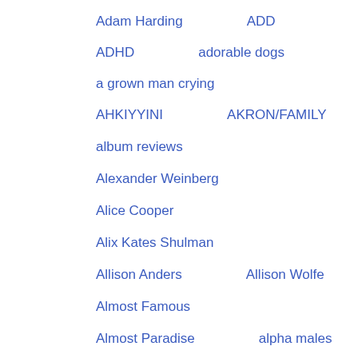Adam Harding    ADD
ADHD    adorable dogs
a grown man crying
AHKIYYINI    AKRON/FAMILY
album reviews
Alexander Weinberg
Alice Cooper
Alix Kates Shulman
Allison Anders    Allison Wolfe
Almost Famous
Almost Paradise    alpha males